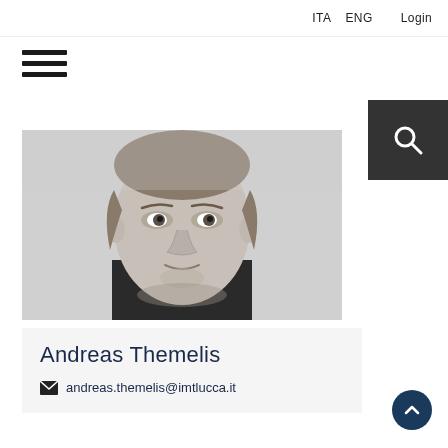ITA  ENG  Login
[Figure (other): Hamburger menu icon (three horizontal lines)]
[Figure (other): Dark search button with magnifying glass icon]
[Figure (photo): Black and white portrait photo of Andreas Themelis, a young man facing the camera]
Andreas Themelis
andreas.themelis@imtlucca.it
[Figure (other): Back-to-top arrow button (dark circle with upward chevron)]